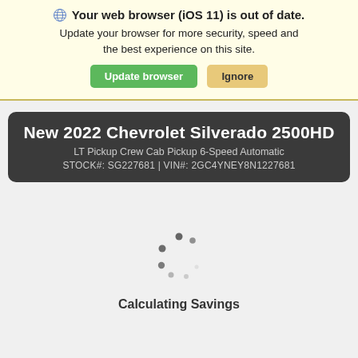🌐 Your web browser (iOS 11) is out of date. Update your browser for more security, speed and the best experience on this site. [Update browser] [Ignore]
New 2022 Chevrolet Silverado 2500HD
LT Pickup Crew Cab Pickup 6-Speed Automatic
STOCK#: SG227681 | VIN#: 2GC4YNEY8N1227681
[Figure (other): Loading spinner animation with dots arranged in a circular pattern]
Calculating Savings